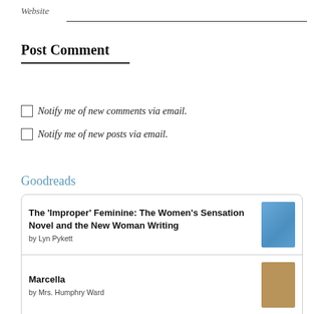Website
Post Comment
Notify me of new comments via email.
Notify me of new posts via email.
Goodreads
The 'Improper' Feminine: The Women's Sensation Novel and the New Woman Writing by Lyn Pykett
Marcella by Mrs. Humphry Ward
The...